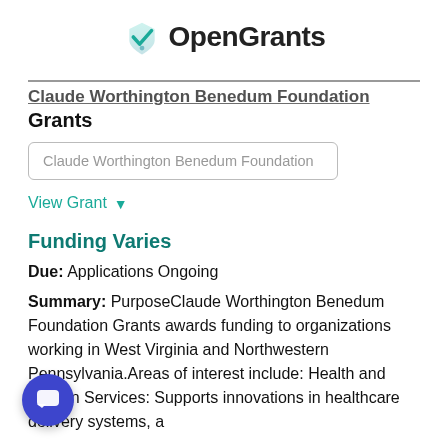[Figure (logo): OpenGrants logo with teal checkmark icon and bold black text]
Claude Worthington Benedum Foundation Grants
Claude Worthington Benedum Foundation
View Grant
Funding Varies
Due: Applications Ongoing
Summary: PurposeClaude Worthington Benedum Foundation Grants awards funding to organizations working in West Virginia and Northwestern Pennsylvania.Areas of interest include: Health and Human Services: Supports innovations in healthcare delivery systems, a